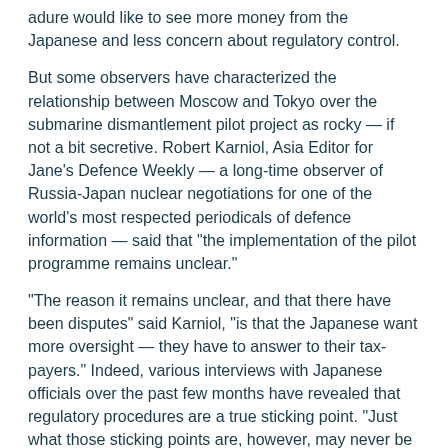adure would like to see more money from the Japanese and less concern about regulatory control.
But some observers have characterized the relationship between Moscow and Tokyo over the submarine dismantlement pilot project as rocky — if not a bit secretive. Robert Karniol, Asia Editor for Jane's Defence Weekly — a long-time observer of Russia-Japan nuclear negotiations for one of the world's most respected periodicals of defence information — said that "the implementation of the pilot programme remains unclear."
"The reason it remains unclear, and that there have been disputes" said Karniol, "is that the Japanese want more oversight — they have to answer to their tax-payers." Indeed, various interviews with Japanese officials over the past few months have revealed that regulatory procedures are a true sticking point. "Just what those sticking points are, however, may never be known," said Karniol.
Said Karniol: "They are dealing in sensitive areas with sensitive technologies — a certain silence would be expected."
It is hoped that the Kasyanov appointment, and his non-proliferation oversight body, will defray some of these difficulties —